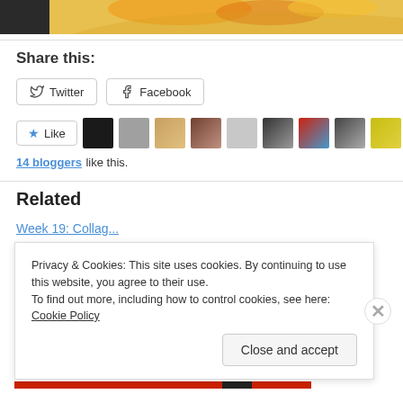[Figure (photo): Partial view of a decorative plate with floral design in orange and yellow tones]
Share this:
[Figure (other): Twitter and Facebook share buttons]
[Figure (other): Like button with star icon and row of blogger avatar thumbnails]
14 bloggers like this.
Related
Week 19: Collag...
Privacy & Cookies: This site uses cookies. By continuing to use this website, you agree to their use.
To find out more, including how to control cookies, see here: Cookie Policy
Close and accept